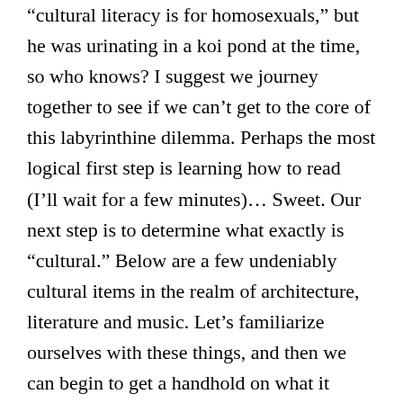“cultural literacy is for homosexuals,” but he was urinating in a koi pond at the time, so who knows? I suggest we journey together to see if we can’t get to the core of this labyrinthine dilemma. Perhaps the most logical first step is learning how to read (I’ll wait for a few minutes)… Sweet. Our next step is to determine what exactly is “cultural.” Below are a few undeniably cultural items in the realm of architecture, literature and music. Let’s familiarize ourselves with these things, and then we can begin to get a handhold on what it means to be culturally literate.